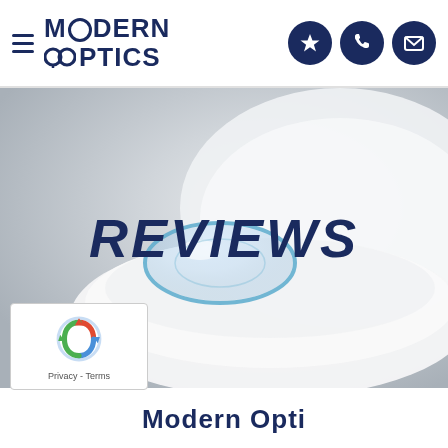Modern Optics — navigation header with hamburger menu and icons
[Figure (photo): Contact lens placed on a white contact lens case container, gray background, with large bold italic text 'REVIEWS' overlaid in dark navy blue]
[Figure (other): Google reCAPTCHA badge with spinning arrows logo and 'Privacy - Terms' text]
Modern Opti...